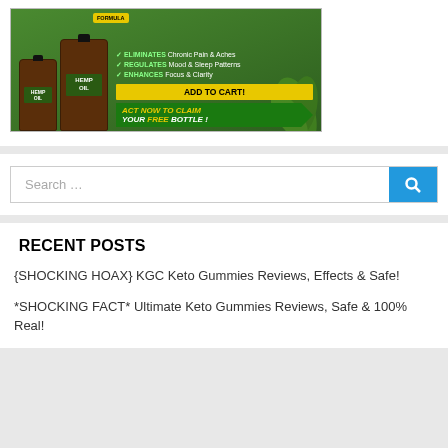[Figure (photo): Hemp Oil product advertisement banner showing two brown hemp oil bottles with green background, checkmarks listing benefits (ELIMINATES Chronic Pain & Aches, REGULATES Mood & Sleep Patterns, ENHANCES Focus & Clarity), a yellow ADD TO CART button, and a green arrow banner saying ACT NOW TO CLAIM YOUR FREE BOTTLE!]
Search …
RECENT POSTS
{SHOCKING HOAX} KGC Keto Gummies Reviews, Effects & Safe!
*SHOCKING FACT* Ultimate Keto Gummies Reviews, Safe & 100% Real!